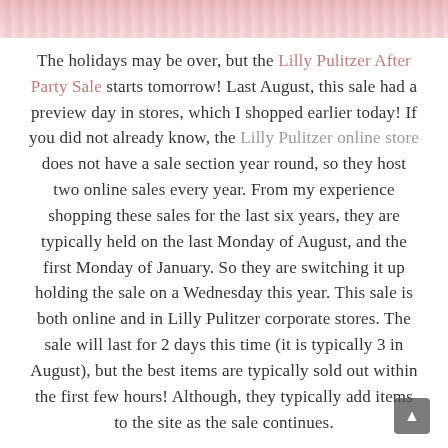[Figure (photo): Top portion of a pink textured image, likely a Lilly Pulitzer fabric or product photo, cropped at the top of the page.]
The holidays may be over, but the Lilly Pulitzer After Party Sale starts tomorrow! Last August, this sale had a preview day in stores, which I shopped earlier today! If you did not already know, the Lilly Pulitzer online store does not have a sale section year round, so they host two online sales every year. From my experience shopping these sales for the last six years, they are typically held on the last Monday of August, and the first Monday of January. So they are switching it up holding the sale on a Wednesday this year. This sale is both online and in Lilly Pulitzer corporate stores. The sale will last for 2 days this time (it is typically 3 in August), but the best items are typically sold out within the first few hours! Although, they typically add items to the site as the sale continues.
These sales are how I have purchased a majority of my Lilly items. Most of the items currently listed on their website will